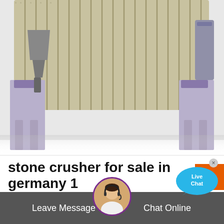[Figure (illustration): Industrial stone crusher machine illustration showing a rotating drum/roller with mechanical components and support columns on a light background.]
stone crusher for sale in germany 1
stone crusher plant 40 tph capacity made in indian stone crusher mobile pe 400x600 iron rock hill stone crusher safety factor of stone crusher machinel small scale stone crusher machine cost crusher stone mobile crawler for india stone crusher for sale in Home ...
Read More
Leave Message   Chat Online